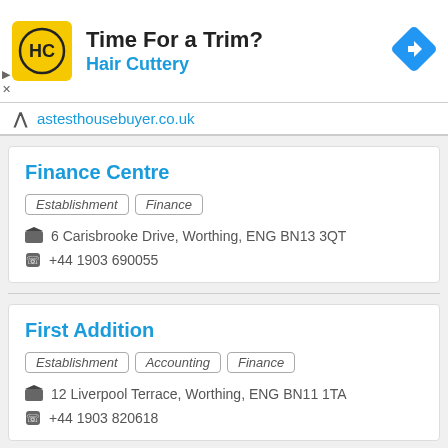[Figure (screenshot): Ad banner for Hair Cuttery with yellow logo, title 'Time For a Trim?' and blue subtitle 'Hair Cuttery', plus blue diamond navigation icon]
astesthousebuyer.co.uk
Finance Centre
Establishment
Finance
6 Carisbrooke Drive, Worthing, ENG BN13 3QT
+44 1903 690055
First Addition
Establishment
Accounting
Finance
12 Liverpool Terrace, Worthing, ENG BN11 1TA
+44 1903 820618